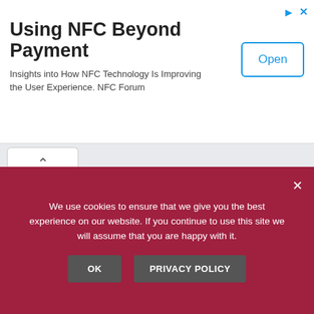[Figure (screenshot): Advertisement banner: 'Using NFC Beyond Payment' with subtitle 'Insights into How NFC Technology Is Improving the User Experience. NFC Forum' and an 'Open' button]
[Figure (screenshot): Navigation area with Previous and Next pagination buttons, links to 'Trail Heads to Fire Lookout Atop Tahquitz Peak' and 'KIDS COUNT® Data Looks Grim for California']
We use cookies to ensure that we give you the best experience on our website. If you continue to use this site we will assume that you are happy with it.
OK
PRIVACY POLICY